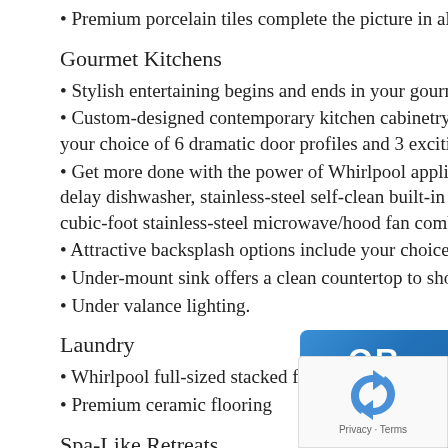• Premium porcelain tiles complete the picture in all bathrooms and k
Gourmet Kitchens
• Stylish entertaining begins and ends in your gourmet Grand Palace
• Custom-designed contemporary kitchen cabinetry features 42" upp your choice of 6 dramatic door profiles and 3 exciting colours.
• Get more done with the power of Whirlpool appliances. Designer W delay dishwasher, stainless-steel self-clean built-in combination ove cubic-foot stainless-steel microwave/hood fan combo.
• Attractive backsplash options include your choice of modern mosai
• Under-mount sink offers a clean countertop to showcase
• Under valance lighting.
Laundry
• Whirlpool full-sized stacked front-loading dryer and Energy Star® n
• Premium ceramic flooring
Spa-Like Retreats
• Elegant full bathrooms offer modern luxury features incl
• Ensuites include a separate shower with recessed lighting and fram